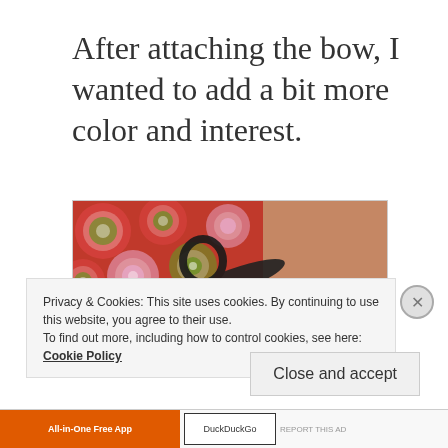After attaching the bow, I wanted to add a bit more color and interest.
[Figure (photo): A photo of scissors lying on top of patterned fabric with red background and green/white circular floral designs.]
Privacy & Cookies: This site uses cookies. By continuing to use this website, you agree to their use.
To find out more, including how to control cookies, see here: Cookie Policy
Close and accept